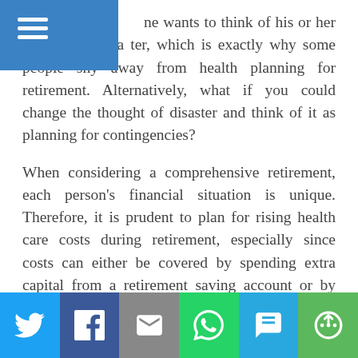Navigation menu header with hamburger icon
he wants to think of his or her life ending in a ter, which is exactly why some people shy away from health planning for retirement. Alternatively, what if you could change the thought of disaster and think of it as planning for contingencies?
When considering a comprehensive retirement, each person's financial situation is unique. Therefore, it is prudent to plan for rising health care costs during retirement, especially since costs can either be covered by spending extra capital from a retirement saving account or by using an insurance solution to cover any cash flow shortfalls.
The key point to remember about a long term health insurance plan is that the earlier it is purchased, the cheaper it is. Contact our office to find out more
Social sharing buttons: Twitter, Facebook, Email, WhatsApp, SMS, More